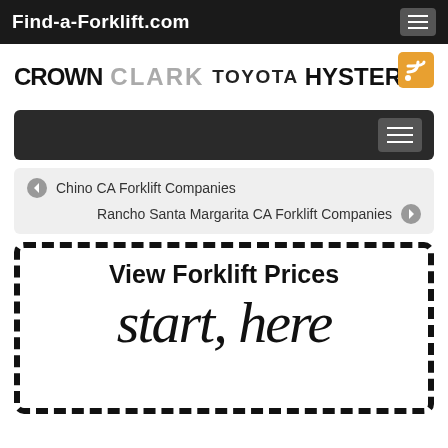Find-a-Forklift.com
[Figure (logo): Brand logos: CROWN, CLARK, TOYOTA, HYSTER with RSS icon]
[Figure (screenshot): Navigation menu bar with hamburger icon]
Chino CA Forklift Companies | Rancho Santa Margarita CA Forklift Companies
[Figure (infographic): Call to action box with dashed border: 'View Forklift Prices' and handwritten 'start here']